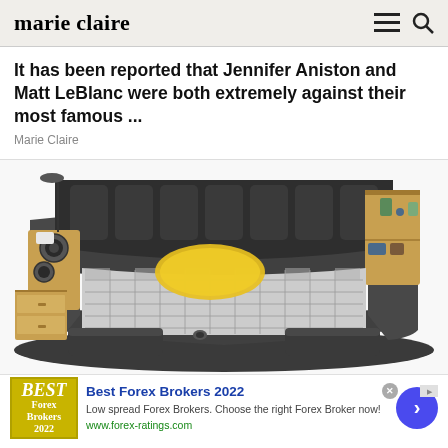marie claire
It has been reported that Jennifer Aniston and Matt LeBlanc were both extremely against their most famous ...
Marie Claire
[Figure (photo): Luxurious multifunctional bed with dark grey upholstered headboard and frame, built-in side shelves made of wood, drawers, speakers, lamp, and checkered bedding with yellow pillow.]
Best Forex Brokers 2022
Low spread Forex Brokers. Choose the right Forex Broker now!
www.forex-ratings.com